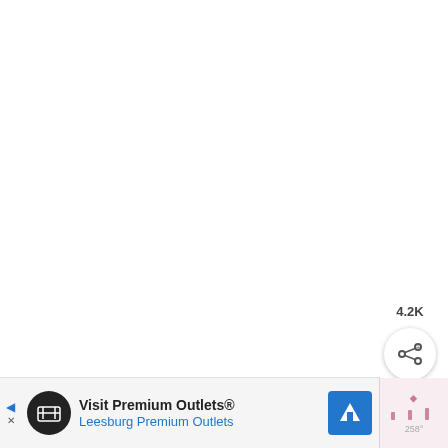[Figure (screenshot): White blank main content area of a video/social media page]
[Figure (infographic): Teal heart/like button with count 4.2K and share button below]
4.2K
[Figure (infographic): WHAT'S NEXT arrow panel with Northern California... channel thumbnail]
WHAT'S NEXT →
Northern California...
Top
[Figure (infographic): Advertisement bar: Visit Premium Outlets® Leesburg Premium Outlets with logo and navigation icon. Partial weather widget on right showing temperature.]
Visit Premium Outlets®
Leesburg Premium Outlets
258°